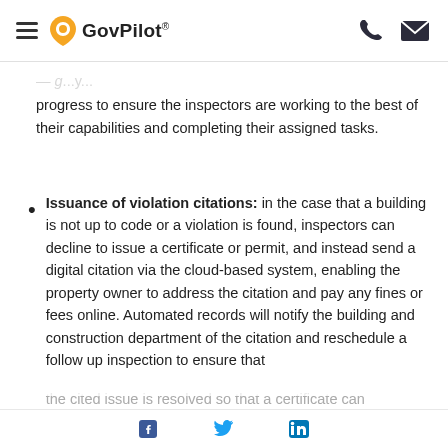GovPilot®
progress to ensure the inspectors are working to the best of their capabilities and completing their assigned tasks.
Issuance of violation citations: in the case that a building is not up to code or a violation is found, inspectors can decline to issue a certificate or permit, and instead send a digital citation via the cloud-based system, enabling the property owner to address the citation and pay any fines or fees online. Automated records will notify the building and construction department of the citation and reschedule a follow up inspection to ensure that the cited issue is resolved so that a certificate can be granted.
Facebook  Twitter  LinkedIn